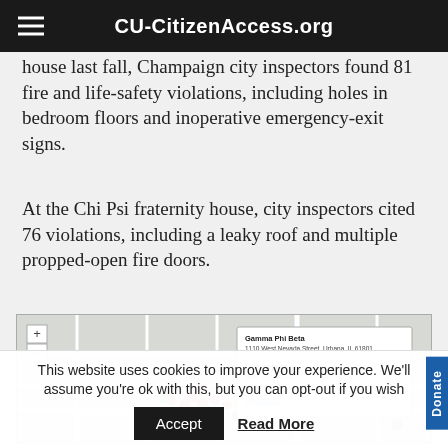CU-CitizenAccess.org
house last fall, Champaign city inspectors found 81 fire and life-safety violations, including holes in bedroom floors and inoperative emergency-exit signs.
At the Chi Psi fraternity house, city inspectors cited 76 violations, including a leaky roof and multiple propped-open fire doors.
[Figure (map): Interactive map showing inspection locations in Champaign, IL with a popup for Gamma Phi Beta at 1110 West Nevada Street, Urbana, IL 61801 showing Last Inspection Date: 2013-03-13, Violations: 8, with a 'See details' link. Multiple colored map pins are visible.]
This website uses cookies to improve your experience. We'll assume you're ok with this, but you can opt-out if you wish.